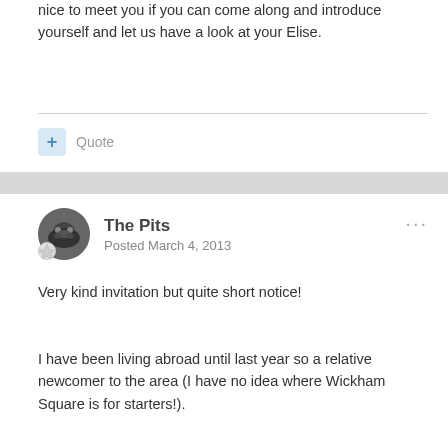nice to meet you if you can come along and introduce yourself and let us have a look at your Elise.
Quote
The Pits
Posted March 4, 2013
Very kind invitation but quite short notice!
I have been living abroad until last year so a relative newcomer to the area (I have no idea where Wickham Square is for starters!).
Quote